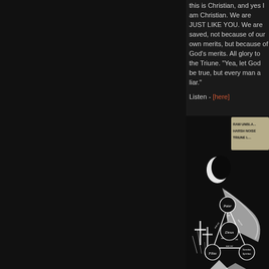this is Christian, and yes I am Christian. We are JUST LIKE YOU. We are saved, not because of our own merits, but because of God's merits. All glory to the Triune. "Yea, let God be true, but every man a liar."
Listen - [here]
[Figure (photo): Black and white album art image showing a dark atmospheric scene with a crescent moon, crosses, and a Trinitarian shield diagram (Scutum Fidei) with Latin text: Pater, Filius, Sanctus Spiritus, Deus, non est, est. Top right corner shows partial text: RAW UNBLA... HARSH NOISE... TRIUNE L...]